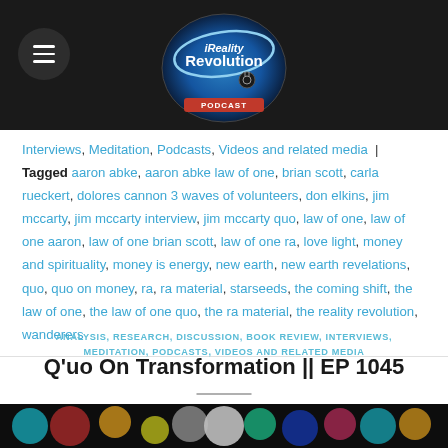Reality Revolution Podcast
Interviews, Meditation, Podcasts, Videos and related media | Tagged aaron abke, aaron abke law of one, brian scott, carla rueckert, dolores cannon 3 waves of volunteers, don elkins, jim mccarty, jim mccarty interview, jim mccarty quo, law of one, law of one aaron, law of one brian scott, law of one ra, love light, money and spirituality, money is energy, new earth, new earth revelations, quo, quo on money, ra, ra material, starseeds, the coming shift, the law of one, the law of one quo, the ra material, the reality revolution, wanderers
ANALYSIS, RESEARCH, DISCUSSION, BOOK REVIEW, INTERVIEWS, MEDITATION, PODCASTS, VIDEOS AND RELATED MEDIA
Q'uo On Transformation || EP 1045
POSTED ON MAY 24, 2022 BY CHIEFEXECUTIVEPRIME
[Figure (photo): Colorful glowing spheres/bokeh image used as article thumbnail]